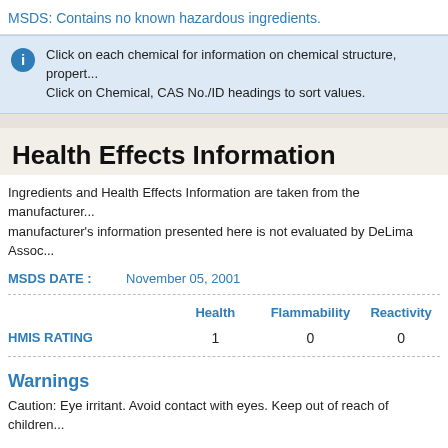MSDS: Contains no known hazardous ingredients.
Click on each chemical for information on chemical structure, proper... Click on Chemical, CAS No./ID headings to sort values.
Health Effects Information
Ingredients and Health Effects Information are taken from the manufacturer... manufacturer's information presented here is not evaluated by DeLima Assoc...
MSDS DATE :   November 05, 2001
|  | Health | Flammability | Reactivity |
| --- | --- | --- | --- |
| HMIS RATING | 1 | 0 | 0 |
Warnings
Caution: Eye irritant. Avoid contact with eyes. Keep out of reach of children...